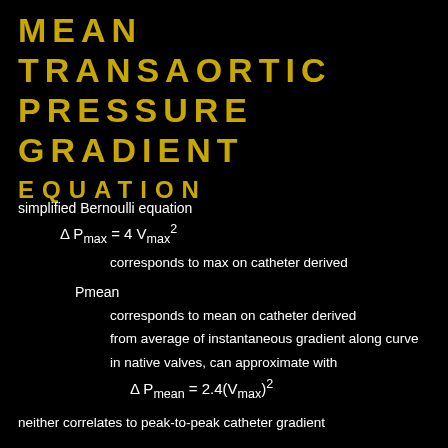MEAN TRANSAORTIC PRESSURE GRADIENT
EQUATION
simplified Bernoulli equation
corresponds to max on catheter derived
Pmean
corresponds to mean on catheter derived
from average of instantaneous gradient along curve
in native valves, can approximate with
neither correlates to peak-to-peak catheter gradient